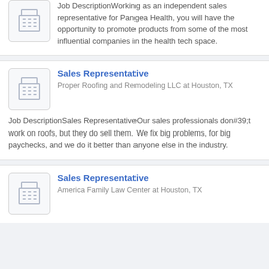Job DescriptionWorking as an independent sales representative for Pangea Health, you will have the opportunity to promote products from some of the most influential companies in the health tech space.
Sales Representative
Proper Roofing and Remodeling LLC at Houston, TX
Job DescriptionSales RepresentativeOur sales professionals don#39;t work on roofs, but they do sell them. We fix big problems, for big paychecks, and we do it better than anyone else in the industry.
Sales Representative
America Family Law Center at Houston, TX